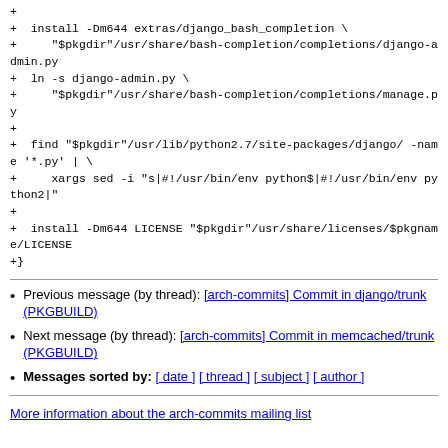+
+  install -Dm644 extras/django_bash_completion \
+     "$pkgdir"/usr/share/bash-completion/completions/django-admin.py
+  ln -s django-admin.py \
+     "$pkgdir"/usr/share/bash-completion/completions/manage.py
+
+  find "$pkgdir"/usr/lib/python2.7/site-packages/django/ -name '*.py' | \
+     xargs sed -i "s|#!/usr/bin/env python$|#!/usr/bin/env python2|"
+
+  install -Dm644 LICENSE "$pkgdir"/usr/share/licenses/$pkgname/LICENSE
+}
Previous message (by thread): [arch-commits] Commit in django/trunk (PKGBUILD)
Next message (by thread): [arch-commits] Commit in memcached/trunk (PKGBUILD)
Messages sorted by: [ date ] [ thread ] [ subject ] [ author ]
More information about the arch-commits mailing list